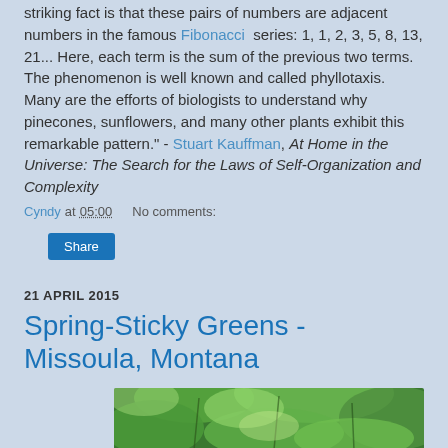striking fact is that these pairs of numbers are adjacent numbers in the famous Fibonacci series: 1, 1, 2, 3, 5, 8, 13, 21... Here, each term is the sum of the previous two terms. The phenomenon is well known and called phyllotaxis. Many are the efforts of biologists to understand why pinecones, sunflowers, and many other plants exhibit this remarkable pattern." - Stuart Kauffman, At Home in the Universe: The Search for the Laws of Self-Organization and Complexity
Cyndy at 05:00    No comments:
Share
21 APRIL 2015
Spring-Sticky Greens - Missoula, Montana
[Figure (photo): Close-up photo of green spring plant foliage, partially visible at bottom of page]